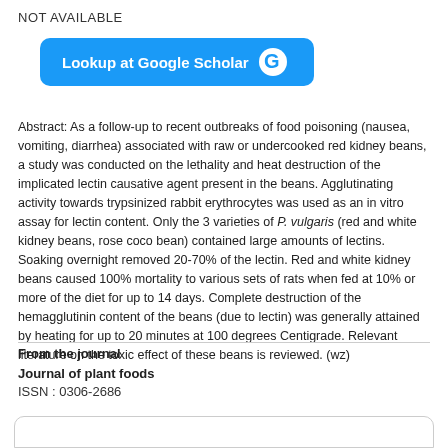NOT AVAILABLE
[Figure (other): Lookup at Google Scholar button with Google G logo]
Abstract: As a follow-up to recent outbreaks of food poisoning (nausea, vomiting, diarrhea) associated with raw or undercooked red kidney beans, a study was conducted on the lethality and heat destruction of the implicated lectin causative agent present in the beans. Agglutinating activity towards trypsinized rabbit erythrocytes was used as an in vitro assay for lectin content. Only the 3 varieties of P. vulgaris (red and white kidney beans, rose coco bean) contained large amounts of lectins. Soaking overnight removed 20-70% of the lectin. Red and white kidney beans caused 100% mortality to various sets of rats when fed at 10% or more of the diet for up to 14 days. Complete destruction of the hemagglutinin content of the beans (due to lectin) was generally attained by heating for up to 20 minutes at 100 degrees Centigrade. Relevant literature on the toxic effect of these beans is reviewed. (wz)
From the journal
Journal of plant foods
ISSN : 0306-2686